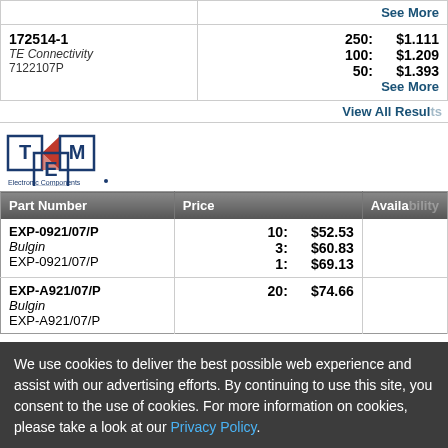| Part Number | Price | Avail. |
| --- | --- | --- |
| 172514-1
TE Connectivity
7122107P | 250: $1.111
100: $1.209
50: $1.393
See More |  |
| View All Results |  |  |
[Figure (logo): TME Electronic Components logo]
| Part Number | Price | Avail. |
| --- | --- | --- |
| EXP-0921/07/P
Bulgin
EXP-0921/07/P | 10: $52.53
3: $60.83
1: $69.13 |  |
| EXP-A921/07/P
Bulgin
EXP-A921/07/P | 20: $74.66 |  |
We use cookies to deliver the best possible web experience and assist with our advertising efforts. By continuing to use this site, you consent to the use of cookies. For more information on cookies, please take a look at our Privacy Policy.